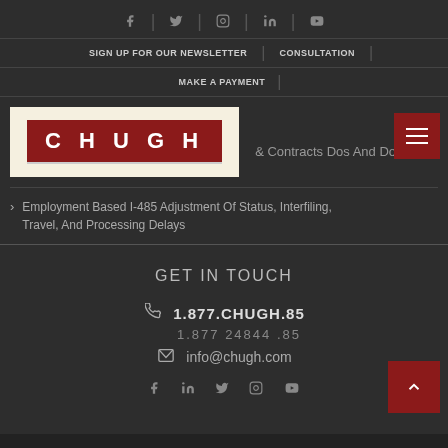[Figure (screenshot): Website navigation header for Chugh law firm with social media icons, navigation links, logo, and contact information footer]
Social media icons: Facebook, Twitter, Instagram, LinkedIn, YouTube
SIGN UP FOR OUR NEWSLETTER | CONSULTATION
MAKE A PAYMENT
[Figure (logo): CHUGH logo in white text on dark red background with cream border]
& Contracts Dos And Don'ts
Employment Based I-485 Adjustment Of Status, Interfiling, Travel, And Processing Delays
GET IN TOUCH
1.877.CHUGH.85
1.877  24844  .85
info@chugh.com
Social media icons: Facebook, LinkedIn, Twitter, Instagram, YouTube